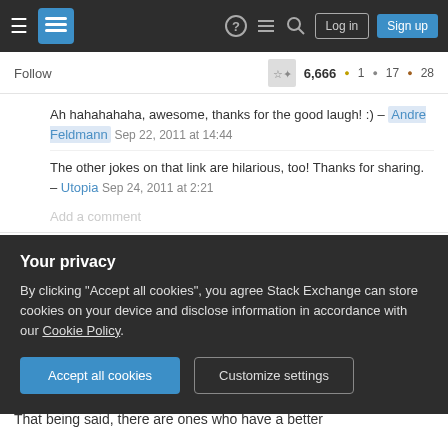Stack Exchange navigation bar with Log in and Sign up buttons
Follow  6,666 ●1 ●17 ●28
Ah hahahahaha, awesome, thanks for the good laugh! :) – Andre Feldmann  Sep 22, 2011 at 14:44
The other jokes on that link are hilarious, too! Thanks for sharing. – Utopia  Sep 24, 2011 at 2:21
Add a comment
I think the larger problem has, and always will be, with the producer/director. I'm not laying all the
Your privacy
By clicking "Accept all cookies", you agree Stack Exchange can store cookies on your device and disclose information in accordance with our Cookie Policy.
Accept all cookies
Customize settings
That being said, there are ones who have a better